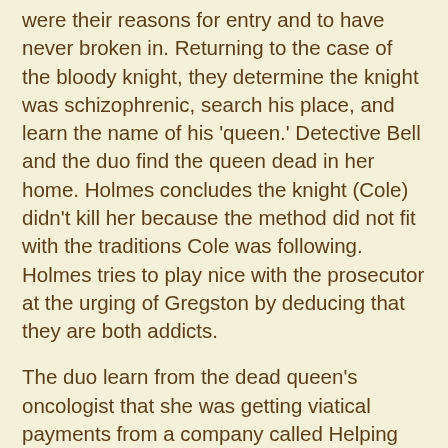were their reasons for entry and to have never broken in. Returning to the case of the bloody knight, they determine the knight was schizophrenic, search his place, and learn the name of his 'queen.' Detective Bell and the duo find the queen dead in her home. Holmes concludes the knight (Cole) didn't kill her because the method did not fit with the traditions Cole was following. Holmes tries to play nice with the prosecutor at the urging of Gregston by deducing that they are both addicts.
The duo learn from the dead queen's oncologist that she was getting viatical payments from a company called Helping Hands, which provides monthly payments to terminally ill patients in exchange for them signing over their life insurance policies. Watson and Holmes track down the person at the company handling the case, James Dylan, an ex-con. He alibis out of the murder though.
Holmes explains how he and Watson exonerated Cole for the murder and proved it was potassium chloride poisoning by testing eye fluid, which is immune to common cell potassium leakage. Watson is a bit upset with Holmes for getting her in an emotional cloud not of the last testify they...